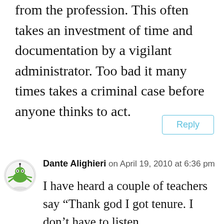from the profession. This often takes an investment of time and documentation by a vigilant administrator. Too bad it many times takes a criminal case before anyone thinks to act.
Reply
Dante Alighieri on April 19, 2010 at 6:36 pm
I have heard a couple of teachers say “Thank god I got tenure. I don’t have to listen